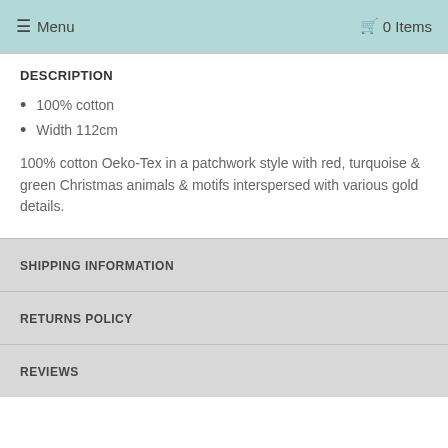≡ Menu   🛒 0 Items
DESCRIPTION
100% cotton
Width 112cm
100% cotton Oeko-Tex in a patchwork style with red, turquoise & green Christmas animals & motifs interspersed with various gold details.
SHIPPING INFORMATION
RETURNS POLICY
REVIEWS